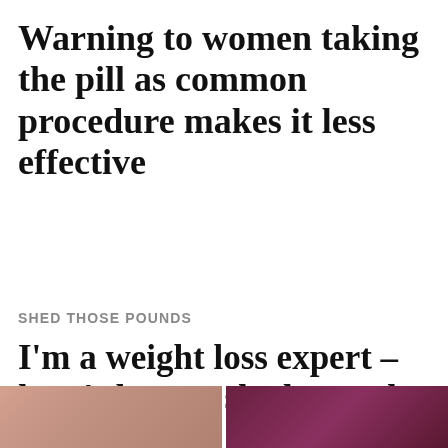Warning to women taking the pill as common procedure makes it less effective
SHED THOSE POUNDS
I'm a weight loss expert – here's how to shed pounds by skipping a meal
[Figure (photo): Two thumbnail photos side by side at bottom of page: left shows a person (warm skin tones), right shows a dark purple/maroon background]